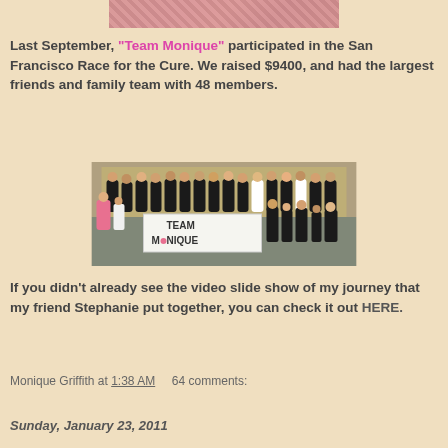[Figure (photo): Partial view of a photo showing ribbons or accessories at the top of the page]
Last September, "Team Monique" participated in the San Francisco Race for the Cure. We raised $9400, and had the largest friends and family team with 48 members.
[Figure (photo): Group photo of Team Monique members, mostly wearing black t-shirts, holding a sign that reads TEAM MONIQUE]
If you didn't already see the video slide show of my journey that my friend Stephanie put together, you can check it out HERE.
Monique Griffith at 1:38 AM    64 comments:
Sunday, January 23, 2011